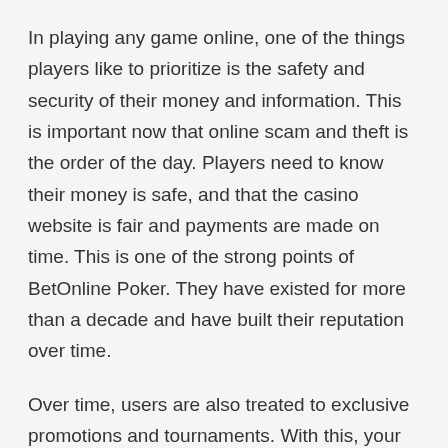In playing any game online, one of the things players like to prioritize is the safety and security of their money and information. This is important now that online scam and theft is the order of the day. Players need to know their money is safe, and that the casino website is fair and payments are made on time. This is one of the strong points of BetOnline Poker. They have existed for more than a decade and have built their reputation over time.
Over time, users are also treated to exclusive promotions and tournaments. With this, your stay on the website can never be boring. It is not only dedicated to casino games, but there are poker games, boxing, and tennis as well.